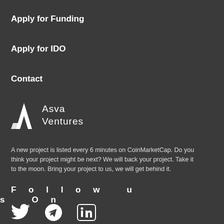Apply for Funding
Apply for IDO
Contact
[Figure (logo): Asva Ventures logo with stylized lightning bolt icon and text 'Asva Ventures']
A new project is listed every 6 minutes on CoinMarketCap. Do you think your project might be next? We will back your project. Take it to the moon. Bring your project to us, we will get behind it.
Follow us On
[Figure (illustration): Three social media icons: Twitter bird, Telegram paper plane, LinkedIn 'in' logo]